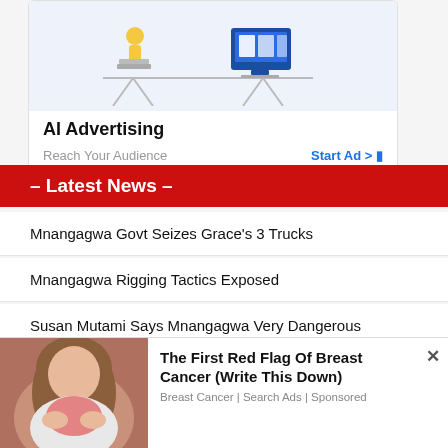[Figure (illustration): AI Advertising illustration showing a seesaw/balance with a figure on one side and computer/documents on the other]
AI Advertising
Reach Your Audience    Start Ad >
– Latest News –
Mnangagwa Govt Seizes Grace's 3 Trucks
Mnangagwa Rigging Tactics Exposed
Susan Mutami Says Mnangagwa Very Dangerous
Man Stabbed Over Chibuku Super
[Figure (photo): Woman holding her chest area, related to breast cancer ad]
The First Red Flag Of Breast Cancer (Write This Down)
Breast Cancer | Search Ads | Sponsored